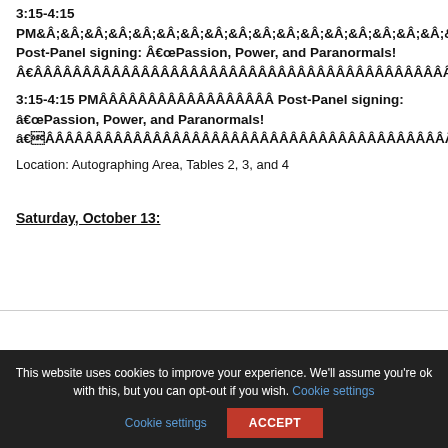3:15-4:15 PMÂÂÂÂÂÂÂÂÂÂÂÂÂÂÂÂÂÂ Post-Panel signing: â€œPassion, Power, and Paranormals! â€ÂÂÂÂÂÂÂÂÂÂÂÂÂÂÂÂÂÂÂÂÂÂÂÂÂÂÂÂÂÂÂÂÂÂÂÂÂÂÂÂÂÂÂÂÂÂÂÂÂÂÂÂÂÂÂÂÂÂ
Location: Autographing Area, Tables 2, 3, and 4
Saturday, October 13: